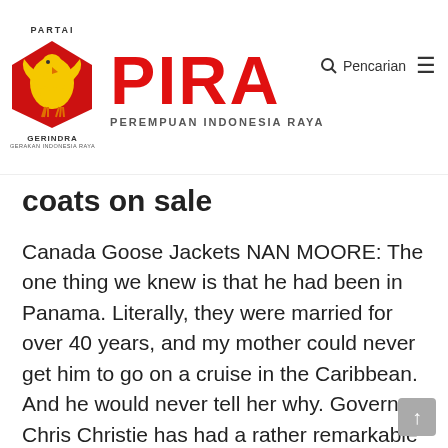[Figure (logo): PIRA Perempuan Indonesia Raya logo with Gerindra party shield (red pentagon with golden eagle/garuda) on the left and large red PIRA text on the right, with PEREMPUAN INDONESIA RAYA subtitle. Search icon and hamburger menu in top right.]
coats on sale
Canada Goose Jackets NAN MOORE: The one thing we knew is that he had been in Panama. Literally, they were married for over 40 years, and my mother could never get him to go on a cruise in the Caribbean. And he would never tell her why. Governor Chris Christie has had a rather remarkable political career in New Jersey, with many parallels to Donald Trump's rise to power. Their political styles are similar, which has always led me to wonder what the 2016